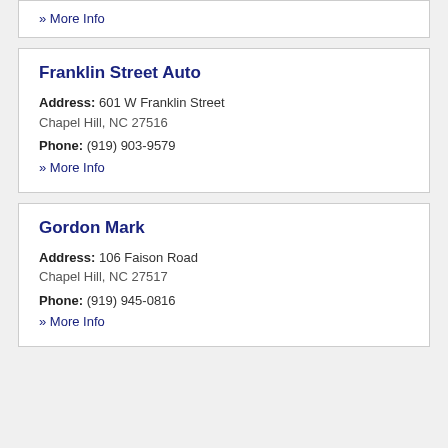» More Info
Franklin Street Auto
Address: 601 W Franklin Street Chapel Hill, NC 27516 Phone: (919) 903-9579
» More Info
Gordon Mark
Address: 106 Faison Road Chapel Hill, NC 27517 Phone: (919) 945-0816
» More Info